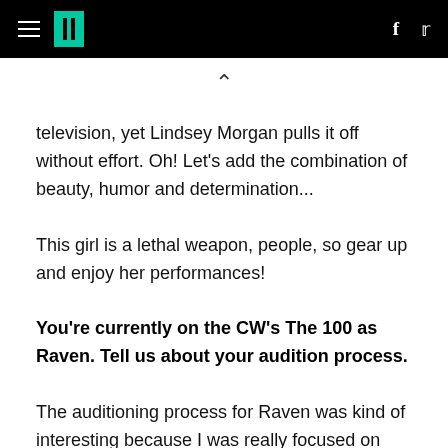HuffPost navigation header with logo, hamburger menu, Facebook and Twitter icons
[Figure (other): Up chevron caret symbol used as a scroll/collapse indicator]
television, yet Lindsey Morgan pulls it off without effort. Oh! Let's add the combination of beauty, humor and determination...
This girl is a lethal weapon, people, so gear up and enjoy her performances!
You're currently on the CW's The 100 as Raven. Tell us about your audition process.
The auditioning process for Raven was kind of interesting because I was really focused on